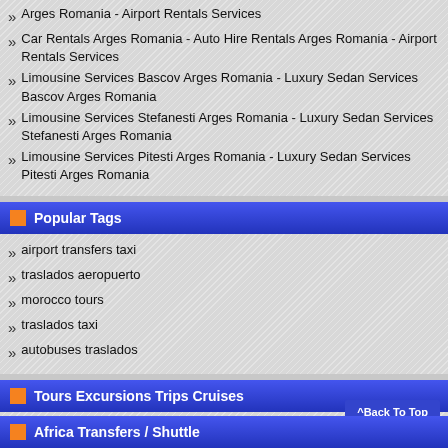Arges Romania - Airport Rentals Services
Car Rentals Arges Romania - Auto Hire Rentals Arges Romania - Airport Rentals Services
Limousine Services Bascov Arges Romania - Luxury Sedan Services Bascov Arges Romania
Limousine Services Stefanesti Arges Romania - Luxury Sedan Services Stefanesti Arges Romania
Limousine Services Pitesti Arges Romania - Luxury Sedan Services Pitesti Arges Romania
Popular Tags
airport transfers taxi
traslados aeropuerto
morocco tours
traslados taxi
autobuses traslados
Tours Excursions Trips Cruises
[Figure (infographic): Social media icons grid: Facebook, Twitter, Google+, YouTube, SoundCloud, Instagram, Pinterest, LinkedIn, Delicious, Blogger (top row); Reddit, StumbleUpon, Email, RSS, Spotify, Flickr, Myspace (bottom row)]
^Back To Top
Africa Transfers / Shuttle